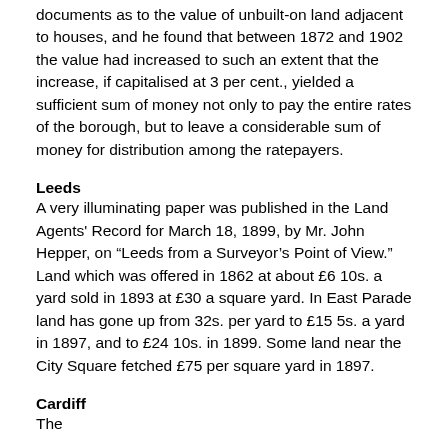documents as to the value of unbuilt-on land adjacent to houses, and he found that between 1872 and 1902 the value had increased to such an extent that the increase, if capitalised at 3 per cent., yielded a sufficient sum of money not only to pay the entire rates of the borough, but to leave a considerable sum of money for distribution among the ratepayers.
Leeds
A very illuminating paper was published in the Land Agents' Record for March 18, 1899, by Mr. John Hepper, on “Leeds from a Surveyor’s Point of View.” Land which was offered in 1862 at about £6 10s. a yard sold in 1893 at £30 a square yard. In East Parade land has gone up from 32s. per yard to £15 5s. a yard in 1897, and to £24 10s. in 1899. Some land near the City Square fetched £75 per square yard in 1897.
Cardiff
The...